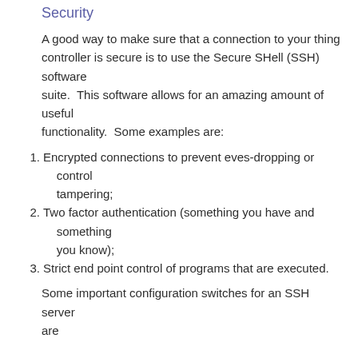Security
A good way to make sure that a connection to your thing controller is secure is to use the Secure SHell (SSH) software suite.  This software allows for an amazing amount of useful functionality.  Some examples are:
Encrypted connections to prevent eves-dropping or control tampering;
Two factor authentication (something you have and something you know);
Strict end point control of programs that are executed.
Some important configuration switches for an SSH server are